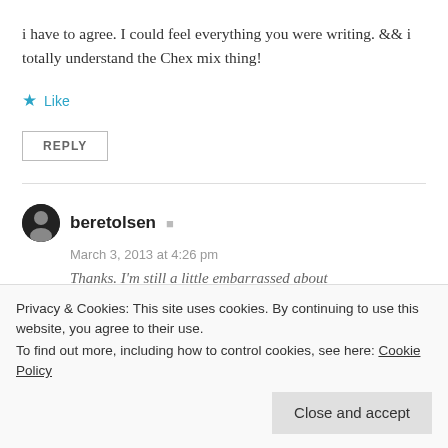i have to agree. I could feel everything you were writing. && i totally understand the Chex mix thing!
Like
REPLY
beretolsen
March 3, 2013 at 4:26 pm
Thanks. I'm still a little embarrassed about
Privacy & Cookies: This site uses cookies. By continuing to use this website, you agree to their use.
To find out more, including how to control cookies, see here: Cookie Policy
Close and accept